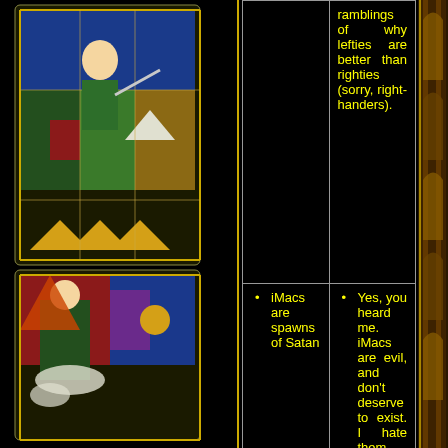[Figure (illustration): Stained glass style decorative panels on the left side showing Legend of Zelda characters and scenes in colorful stained glass window style artwork]
[Figure (illustration): Right side decorative golden/brown stained glass border strip]
ramblings of why lefties are better than righties (sorry, right-handers).
iMacs are spawns of Satan
Yes, you heard me. iMacs are evil, and don't deserve to exist. I hate them and there is nothing anyone could possibly do to change my mind. If you want to know why I hate iMacs, read this article. If